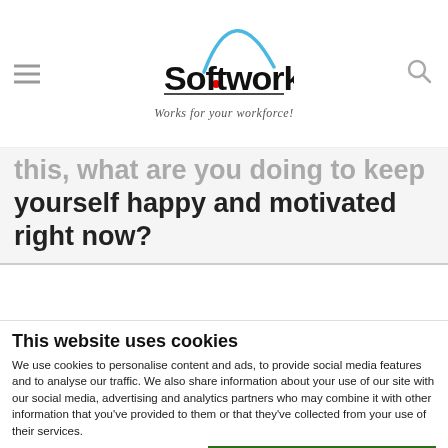Softworks — Works for your workforce!
this, what are you doing to keep yourself happy and motivated right now?
This website uses cookies
We use cookies to personalise content and ads, to provide social media features and to analyse our traffic. We also share information about your use of our site with our social media, advertising and analytics partners who may combine it with other information that you've provided to them or that they've collected from your use of their services.
Allow all cookies
Allow selection
Use necessary cookies only
Necessary  Preferences  Statistics  Marketing  Show details